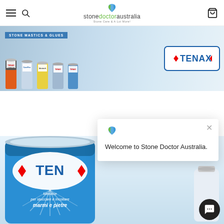Stone Doctor Australia – Navigation header with hamburger menu, search, logo, and cart icon
[Figure (screenshot): Tenax Stone Mastics & Glues promotional banner with product bottles and Tenax logo on right]
[Figure (photo): Large blue Tenax can of Mastice per stuccare e incollare marmi e pietre, with a popup dialog saying 'Welcome to Stone Doctor Australia.' and a chat button]
Welcome to Stone Doctor Australia.